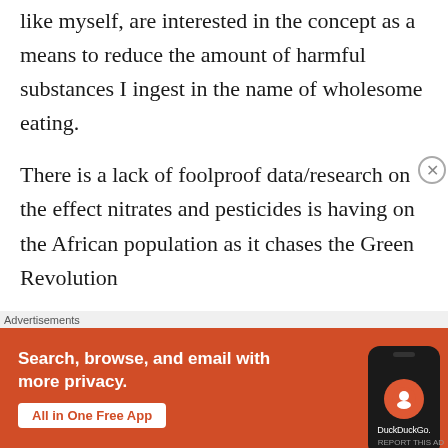like myself, are interested in the concept as a means to reduce the amount of harmful substances I ingest in the name of wholesome eating.
There is a lack of foolproof data/research on the effect nitrates and pesticides is having on the African population as it chases the Green Revolution
[Figure (screenshot): DuckDuckGo advertisement banner with orange background showing 'Search, browse, and email with more privacy. All in One Free App' text alongside an image of a smartphone with the DuckDuckGo logo]